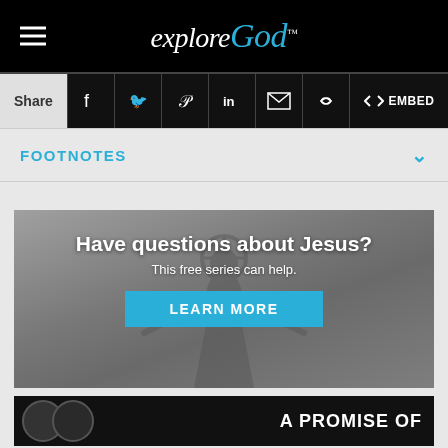explore God
Share
FOOTNOTES
[Figure (photo): Jesus statue with arms outstretched, grayscale photo used as banner background]
Have questions about Jesus?
This free series can help.
LEARN MORE
A PROMISE OF